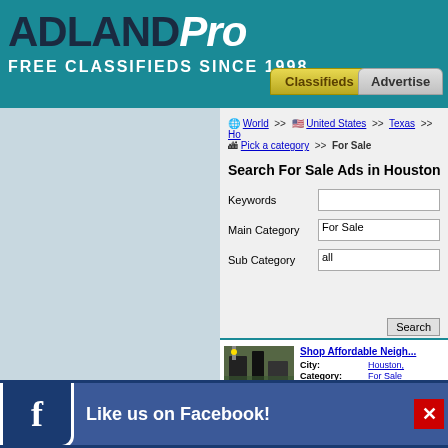ADLANDPro
FREE CLASSIFIEDS SINCE 1998
My Links
World >> United States >> Texas >> Ho... >> Pick a category >> For Sale
Search For Sale Ads in Houston
| Field | Value |
| --- | --- |
| Keywords |  |
| Main Category | For Sale |
| Sub Category | all |
Shop Affordable Neigh...
| Key | Value |
| --- | --- |
| City: | Houston, |
| Category: | For Sale |
| Date: | 8/4/2022 |
| Description: | Moderniz... security s... s a 1-yea... |
Like us on Facebook!